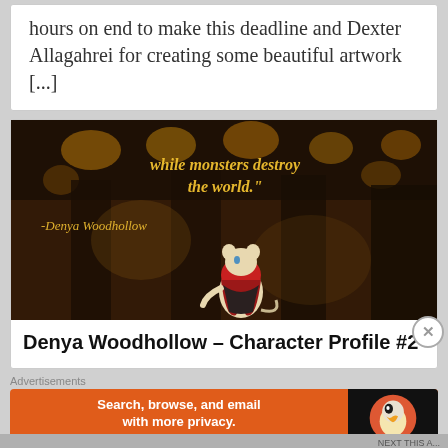hours on end to make this deadline and Dexter Allagahrei for creating some beautiful artwork [...]
[Figure (illustration): A digital artwork showing a mouse/rat character in a red hood/cape standing in a warmly lit indoor scene. Golden italic text overlaid reads: 'while monsters destroy the world." -Denya Woodhollow']
Denya Woodhollow – Character Profile #2
Advertisements
[Figure (other): DuckDuckGo advertisement banner: 'Search, browse, and email with more privacy. All in One Free App' with DuckDuckGo duck logo on dark right panel]